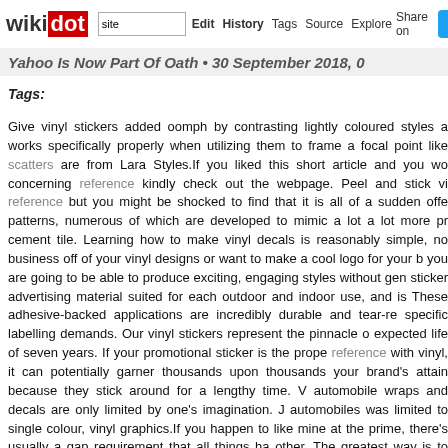wikidot | site Edit History Tags Source Explore Share on [Twitter]
Yahoo Is Now Part Of Oath • 30 September 2018, 0
Tags:
Give vinyl stickers added oomph by contrasting lightly coloured styles a... works specifically properly when utilizing them to frame a focal point like scatters are from Lara Styles.If you liked this short article and you wo... concerning reference kindly check out the webpage. Peel and stick vi... reference but you might be shocked to find that it is all of a sudden offe... patterns, numerous of which are developed to mimic a lot a lot more pr... cement tile. Learning how to make vinyl decals is reasonably simple, no... business off of your vinyl designs or want to make a cool logo for your b... you are going to be able to produce exciting, engaging styles without gen... sticker advertising material suited for each outdoor and indoor use, and is... These adhesive-backed applications are incredibly durable and tear-re... specific labelling demands. Our vinyl stickers represent the pinnacle o... expected life of seven years. If your promotional sticker is the prope... reference with vinyl, it can potentially garner thousands upon thousands your brand's attain because they stick around for a lengthy time. W... automobile wraps and decals are only limited by one's imagination. J... automobiles was limited to single colour, vinyl graphics.If you happen to like mine at the prime, there's usually a gap requirement that all things ha... other. The greatest way is to make a circle that modest and run it inbetwe... includes the width of the minimum border).Glossy white vinyl labels ar... Whether or not you are labelling party favors, items, or making use of th... workplace, these labels will do the trick! The glossy surface will give y... Upload your personal artwork or design, or customize any of our current suit your requirements. Use our gallery of images to add artwork, frames Order your custom glossy white vinyl labels in any size, any shape, or...